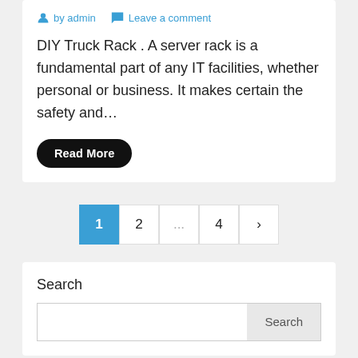by admin  Leave a comment
DIY Truck Rack . A server rack is a fundamental part of any IT facilities, whether personal or business. It makes certain the safety and…
Read More
1  2  ...  4  >
Search
Recent Posts